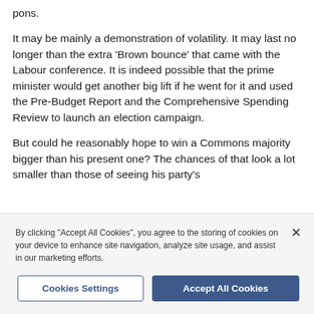pons.
It may be mainly a demonstration of volatility. It may last no longer than the extra 'Brown bounce' that came with the Labour conference. It is indeed possible that the prime minister would get another big lift if he went for it and used the Pre-Budget Report and the Comprehensive Spending Review to launch an election campaign.
But could he reasonably hope to win a Commons majority bigger than his present one? The chances of that look a lot smaller than those of seeing his party's
By clicking "Accept All Cookies", you agree to the storing of cookies on your device to enhance site navigation, analyze site usage, and assist in our marketing efforts.
Cookies Settings
Accept All Cookies